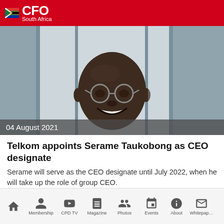CFO South Africa
[Figure (photo): Smiling bald man wearing glasses and a dark suit jacket, professional headshot/portrait]
04 August 2021
Telkom appoints Serame Taukobong as CEO designate
Serame will serve as the CEO designate until July 2022, when he will take up the role of group CEO.
Home | Membership | CPD TV | Magazine | Photos | Events | About | Whitepaper